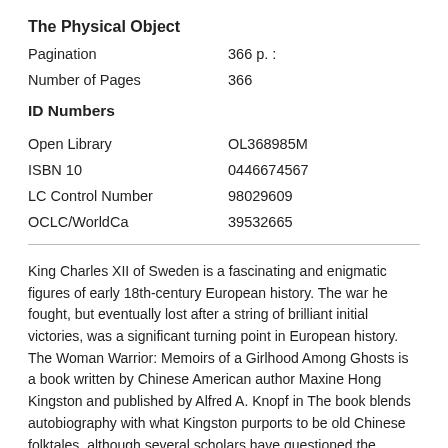The Physical Object
| Field | Value |
| --- | --- |
| Pagination | 366 p. : |
| Number of Pages | 366 |
ID Numbers
| Field | Value |
| --- | --- |
| Open Library | OL368985M |
| ISBN 10 | 0446674567 |
| LC Control Number | 98029609 |
| OCLC/WorldCa | 39532665 |
King Charles XII of Sweden is a fascinating and enigmatic figures of early 18th-century European history. The war he fought, but eventually lost after a string of brilliant initial victories, was a significant turning point in European history. The Woman Warrior: Memoirs of a Girlhood Among Ghosts is a book written by Chinese American author Maxine Hong Kingston and published by Alfred A. Knopf in The book blends autobiography with what Kingston purports to be old Chinese folktales, although several scholars have questioned the accuracy and authenticity of these southlakes-cottages.com: Maxine Hong Kingston.
Buy Warrior King by Michael G Thomas online at Alibris. We have new and used copies available, in 1 editions, starting at $ Shop now. With